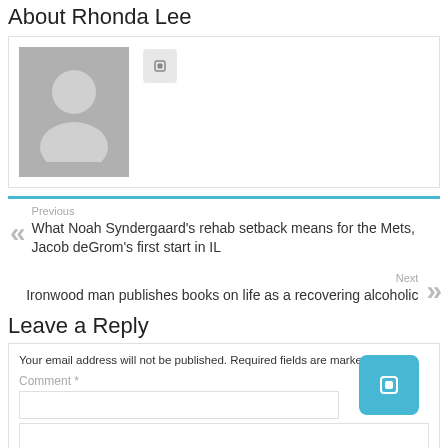About Rhonda Lee
[Figure (photo): Avatar placeholder with a generic person silhouette in gray, and a small social icon button to the right]
Previous
What Noah Syndergaard's rehab setback means for the Mets, Jacob deGrom's first start in IL
Next
Ironwood man publishes books on life as a recovering alcoholic
Leave a Reply
Your email address will not be published. Required fields are marked *
Comment *